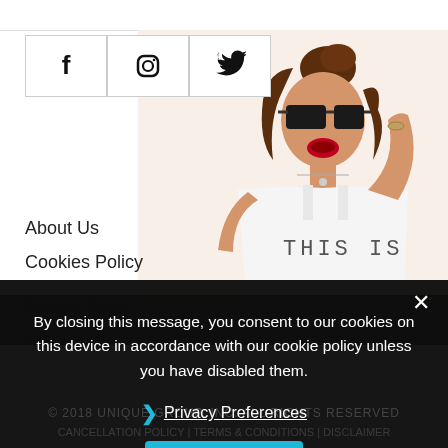[Figure (screenshot): Website page showing social media icons (Facebook, Instagram, Twitter) in bordered boxes, a fashion photo of a young woman wearing sunglasses and a white top with text 'THIS IS', navigation links (About Us, Cookies Policy, Privacy Policy, Contact Us), with a dark cookie consent overlay banner at the bottom half of the page.]
By closing this message, you consent to our cookies on this device in accordance with our cookie policy unless you have disabled them.
❯ Privacy Preferences
I Agree